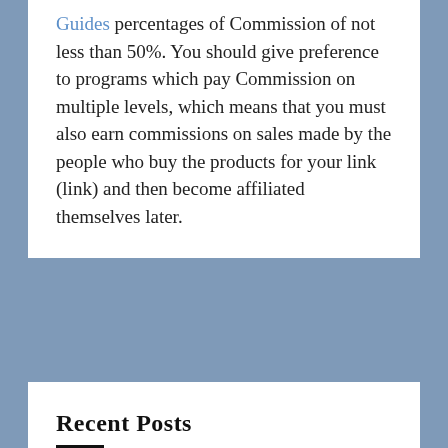Guides percentages of Commission of not less than 50%. You should give preference to programs which pay Commission on multiple levels, which means that you must also earn commissions on sales made by the people who buy the products for your link (link) and then become affiliated themselves later.
Recent Posts
Silver Paste
Chair Massage
Corporate Image
PEMEX
Costa Brava